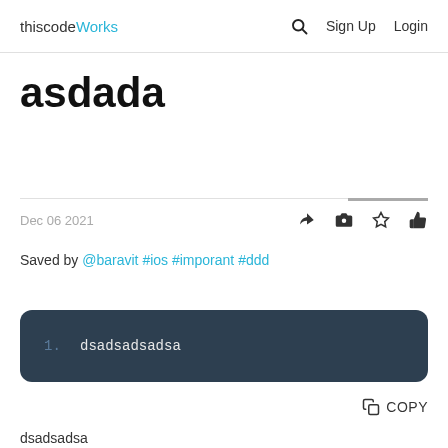thiscodeWorks  Sign Up  Login
asdada
Dec 06 2021
Saved by @baravit #ios #imporant #ddd
1.   dsadsadsadsa
COPY
dsadsadsa